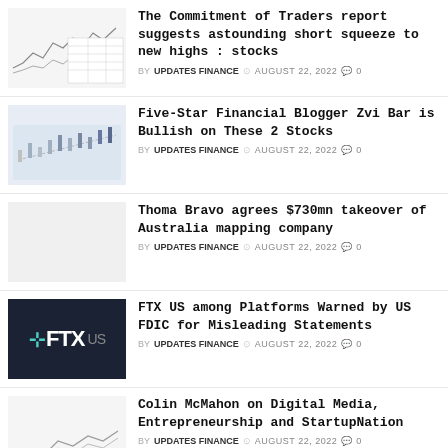The Commitment of Traders report suggests astounding short squeeze to new highs : stocks — BY UPDATES FINANCE  AUGUST 22, 2022  0
Five-Star Financial Blogger Zvi Bar is Bullish on These 2 Stocks — BY UPDATES FINANCE  AUGUST 22, 2022  0
Thoma Bravo agrees $730mn takeover of Australia mapping company — BY UPDATES FINANCE  AUGUST 22, 2022  0
FTX US among Platforms Warned by US FDIC for Misleading Statements — BY UPDATES FINANCE  AUGUST 22, 2022  0
Colin McMahon on Digital Media, Entrepreneurship and StartupNation — BY UPDATES FINANCE  AUGUST 22, 2022  0
Top chips challenge for M&As/MBIs and how to